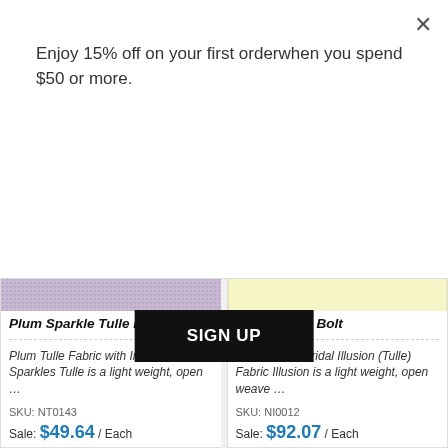Enjoy 15% off on your first orderwhen you spend $50 or more.
SIGN UP
[Figure (photo): Plum sparkle tulle fabric swatch — purple/lavender fabric with iridescent sparkle texture]
Plum Sparkle Tulle Bolt
Plum Tulle Fabric with Iridescent Sparkles Tulle is a light weight, open …
SKU: NT0143
Sale: $49.64 / Each
[Figure (photo): Yellow tulle fabric swatch — solid pale yellow fabric]
Yellow Tulle Bolt
Solid Yellow Bridal Illusion (Tulle) Fabric Illusion is a light weight, open weave …
SKU: NI0012
Sale: $92.07 / Each